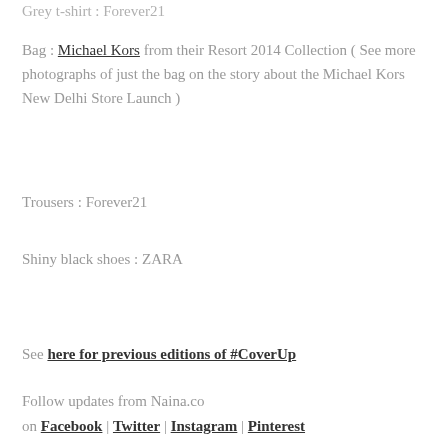Grey t-shirt : Forever21
Bag : Michael Kors from their Resort 2014 Collection ( See more photographs of just the bag on the story about the Michael Kors New Delhi Store Launch )
Trousers : Forever21
Shiny black shoes : ZARA
See here for previous editions of #CoverUp
Follow updates from Naina.co
on Facebook | Twitter | Instagram | Pinterest